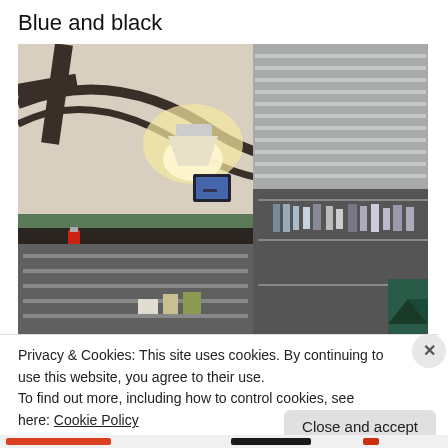Blue and black
[Figure (photo): Interior of a diner or restaurant kitchen showing stainless steel counters, shelving with bottles and supplies, overhead lighting, and dark structural beams on ceiling. A small TV monitor is visible in the background.]
Privacy & Cookies: This site uses cookies. By continuing to use this website, you agree to their use.
To find out more, including how to control cookies, see here: Cookie Policy
Close and accept